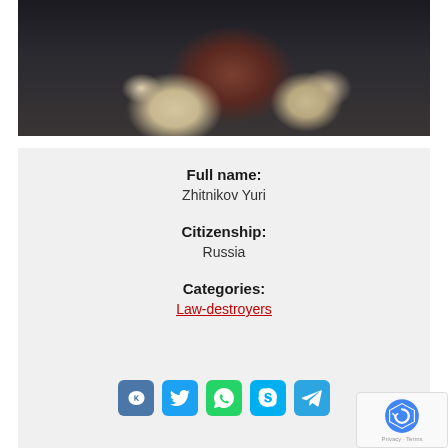[Figure (photo): Close-up photo of a person holding a dark brown book or folder, with microphones visible in the background. Dark, muted tones.]
Full name:
Zhitnikov Yuri
Citizenship:
Russia
Categories:
Law-destroyers
[Figure (infographic): Row of social media share buttons: VK, Twitter, WhatsApp, Skype, Telegram]